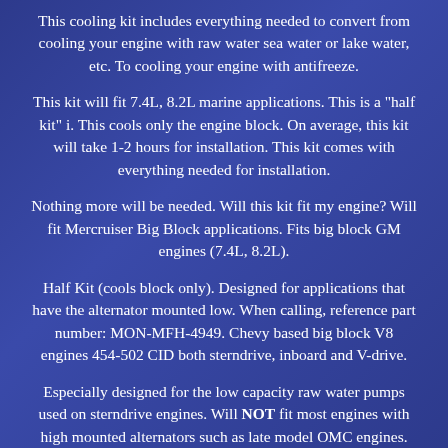This cooling kit includes everything needed to convert from cooling your engine with raw water sea water or lake water, etc. To cooling your engine with antifreeze.
This kit will fit 7.4L, 8.2L marine applications. This is a "half kit" i. This cools only the engine block. On average, this kit will take 1-2 hours for installation. This kit comes with everything needed for installation.
Nothing more will be needed. Will this kit fit my engine? Will fit Mercruiser Big Block applications. Fits big block GM engines (7.4L, 8.2L).
Half Kit (cools block only). Designed for applications that have the alternator mounted low. When calling, reference part number: MON-MFH-4949. Chevy based big block V8 engines 454-502 CID both sterndrive, inboard and V-drive.
Especially designed for the low capacity raw water pumps used on sterndrive engines. Will NOT fit most engines with high mounted alternators such as late model OMC engines. Separate kits are available for those